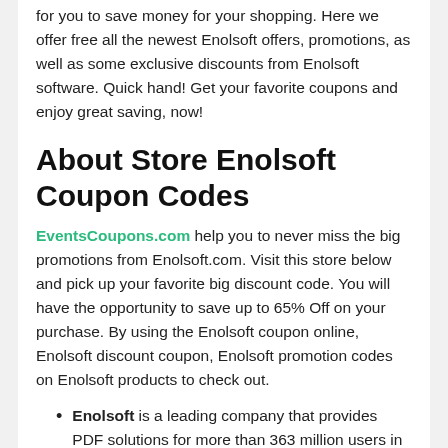for you to save money for your shopping. Here we offer free all the newest Enolsoft offers, promotions, as well as some exclusive discounts from Enolsoft software. Quick hand! Get your favorite coupons and enjoy great saving, now!
About Store Enolsoft Coupon Codes
EventsCoupons.com help you to never miss the big promotions from Enolsoft.com. Visit this store below and pick up your favorite big discount code. You will have the opportunity to save up to 65% Off on your purchase. By using the Enolsoft coupon online, Enolsoft discount coupon, Enolsoft promotion codes on Enolsoft products to check out.
Enolsoft is a leading company that provides PDF solutions for more than 363 million users in over 200 countries. They helps users solve